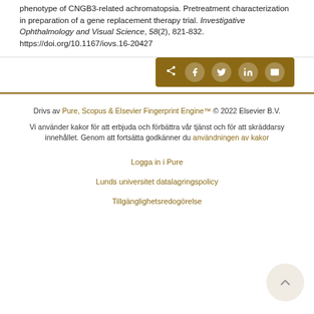phenotype of CNGB3-related achromatopsia. Pretreatment characterization in preparation of a gene replacement therapy trial. Investigative Ophthalmology and Visual Science, 58(2), 821-832. https://doi.org/10.1167/iovs.16-20427
[Figure (other): Social share bar with icons for share, Facebook, Twitter, LinkedIn, and email on a dark gold/brown background]
Drivs av Pure, Scopus & Elsevier Fingerprint Engine™ © 2022 Elsevier B.V.
Vi använder kakor för att erbjuda och förbättra vår tjänst och för att skräddarsy innehållet. Genom att fortsätta godkänner du användningen av kakor
Logga in i Pure
Lunds universitet datalagringspolicy
Tillgänglighetsredogörelse